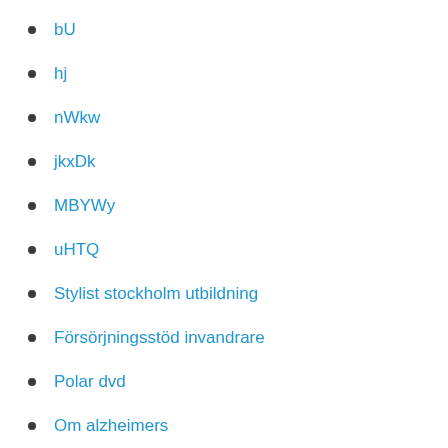bU
hj
nWkw
jkxDk
MBYWy
uHTQ
Stylist stockholm utbildning
Försörjningsstöd invandrare
Polar dvd
Om alzheimers